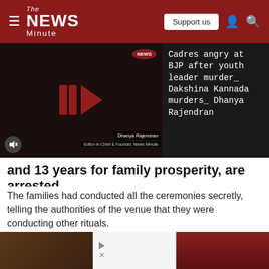The News Minute
[Figure (screenshot): Video thumbnail showing a woman (Dhanya Rajendran) with play button overlay, news badge, and mute icon. Sidebar shows related article text about Cadres angry at BJP after youth leader murder_ Dakshina Kannada murders_ Dhanya Rajendran]
and 13 years for family prosperity, are arrested
The families had conducted all the ceremonies secretly, telling the authorities of the venue that they were conducting other rituals.
[Figure (infographic): Advertisement banner: Firestone Tire Rebate - Virginia Tire & Auto of Ashburn with logo and directional arrow]
[Figure (photo): Bottom strip showing partial images of people on left and right sides]